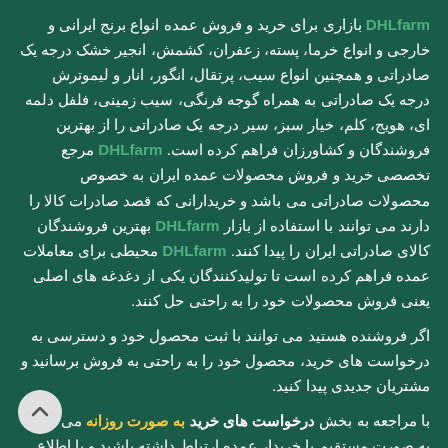DHLfarm بازاری برای خرید و فروش عمده انواع برنج ایرانی و خارجی و انواع خرما، پسته، زعفران، کشمش، انجیر خشک درجه یک صادراتی و همچنین انواع سیب، پرتقال، انگور، انار و لیموترش درجه یک صادراتی به همراه گوجه فرنگی، سیب زمینی، فلفل دلمه ای، هویج، کلم، خیار سبز، سیر درجه یک صادراتی را از بهترین فروشندگان و کشاورزان فراهم کرده است. DHLfarm مرجع تخصصی خرید و فروش محصولات عمده ایران به خصوص محصولات صادراتی می باشد و خریدارانی که قصد صادرات کالا را دارند می توانند با استفاده از بازار DHLfarm بهترین فروشندگان کالای صادراتی ایران را پیدا کنند. DHLfarm محیطی برای معاملات عمده فراهم کرده است تا تولیدکنندگان یکی از دغدغه های اصلی یعنی فروش محصولات خود را به راحتی حل کنند.
اگر فروشنده هستید می توانند با ثبت محصول خود و دسترسی به درخواست های خرید، محصول خود را به راحتی به فروش برسانید و مشتریان جدیدی پیدا کنید.
با مراجعه به بخش درخواست های خرید به صورت روزانه می توانید به صورت مستقیم با خریدار عمده ارتباط داشته باشید و با اطلاع بازار با قیمت و شرایط بهتر محصول خود را به فروش برسانید. ب...